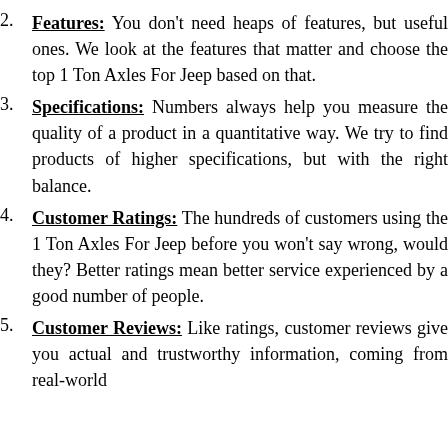Features: You don't need heaps of features, but useful ones. We look at the features that matter and choose the top 1 Ton Axles For Jeep based on that.
Specifications: Numbers always help you measure the quality of a product in a quantitative way. We try to find products of higher specifications, but with the right balance.
Customer Ratings: The hundreds of customers using the 1 Ton Axles For Jeep before you won't say wrong, would they? Better ratings mean better service experienced by a good number of people.
Customer Reviews: Like ratings, customer reviews give you actual and trustworthy information, coming from real-world